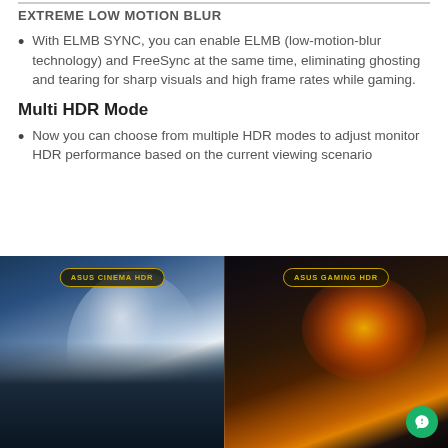EXTREME LOW MOTION BLUR
With ELMB SYNC, you can enable ELMB (low-motion-blur technology) and FreeSync at the same time, eliminating ghosting and tearing for sharp visuals and high frame rates while gaming.
Multi HDR Mode
Now you can choose from multiple HDR modes to adjust monitor HDR performance based on the current viewing scenario
[Figure (photo): Split-screen comparison of ASUS Cinema HDR (left, showing a daytime scene with blues and whites) and ASUS Gaming HDR (right, showing a dark scene with orange fire/explosion). Each side has a badge label in golden text on dark background.]